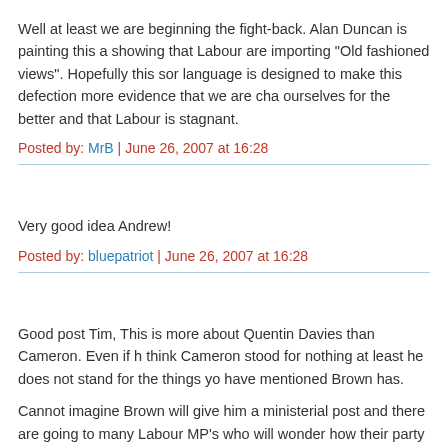Well at least we are beginning the fight-back. Alan Duncan is painting this as showing that Labour are importing "Old fashioned views". Hopefully this sort of language is designed to make this defection more evidence that we are changing ourselves for the better and that Labour is stagnant.
Posted by: MrB | June 26, 2007 at 16:28
Very good idea Andrew!
Posted by: bluepatriot | June 26, 2007 at 16:28
Good post Tim, This is more about Quentin Davies than Cameron. Even if h think Cameron stood for nothing at least he does not stand for the things yo have mentioned Brown has.
Cannot imagine Brown will give him a ministerial post and there are going to many Labour MP's who will wonder how their party has become one in whic Davies can feel at home.
Posted by: Kevin Davis | June 26, 2007 at 16:33